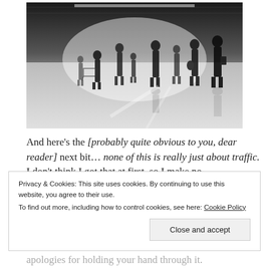[Figure (photo): Black and white photograph of silhouetted people walking in a large open hall or transit space with bright light reflecting off the floor]
And here’s the [probably quite obvious to you, dear reader] next bit… none of this is really just about traffic. I don’t think I got that at first, so I make no apologies for holding your hand through it.
Privacy & Cookies: This site uses cookies. By continuing to use this website, you agree to their use.
To find out more, including how to control cookies, see here: Cookie Policy
Close and accept